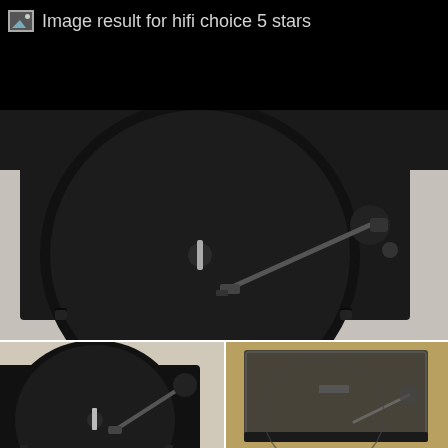Image result for hifi choice 5 stars
[Figure (photo): Top-down view of a black turntable record player with tonearm on light grey background]
[Figure (photo): Angled front-left view of a black turntable record player with tonearm on beige background]
[Figure (photo): Front view of a black turntable with dust cover closed, on textured gold/brown background]